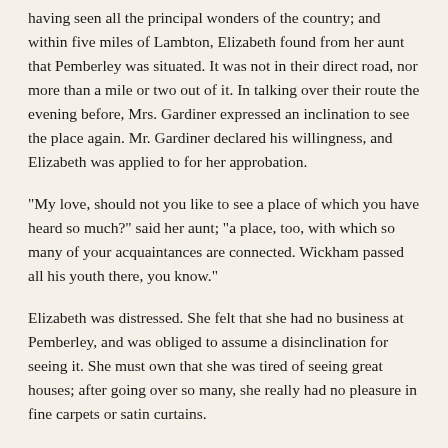having seen all the principal wonders of the country; and within five miles of Lambton, Elizabeth found from her aunt that Pemberley was situated. It was not in their direct road, nor more than a mile or two out of it. In talking over their route the evening before, Mrs. Gardiner expressed an inclination to see the place again. Mr. Gardiner declared his willingness, and Elizabeth was applied to for her approbation.
"My love, should not you like to see a place of which you have heard so much?" said her aunt; "a place, too, with which so many of your acquaintances are connected. Wickham passed all his youth there, you know."
Elizabeth was distressed. She felt that she had no business at Pemberley, and was obliged to assume a disinclination for seeing it. She must own that she was tired of seeing great houses; after going over so many, she really had no pleasure in fine carpets or satin curtains.
Mrs. Gardiner abused her stupidity. If it were merely a fine house richly furnished," said she, "I should not care about it myself; but the grounds are delightful. They have some of the finest woods in